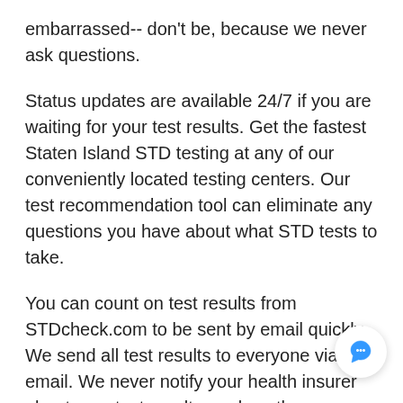embarrassed-- don't be, because we never ask questions.
Status updates are available 24/7 if you are waiting for your test results. Get the fastest Staten Island STD testing at any of our conveniently located testing centers. Our test recommendation tool can eliminate any questions you have about what STD tests to take.
You can count on test results from STDcheck.com to be sent by email quickly. We send all test results to everyone via email. We never notify your health insurer about your test results or place them on permanent medical records.
Staten Island, New York STD Data
The first step toward defending yourself against the